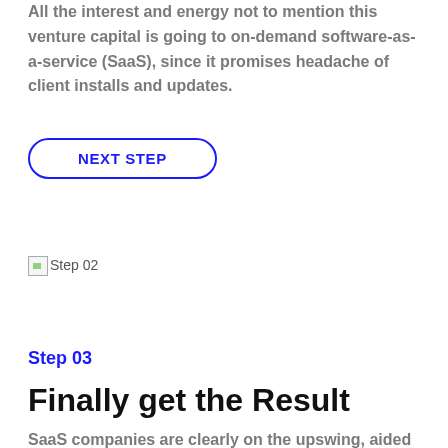All the interest and energy not to mention this venture capital is going to on-demand software-as-a-service (SaaS), since it promises headache of client installs and updates.
[Figure (other): NEXT STEP button with rounded border in blue]
[Figure (other): Broken image placeholder labeled 'Step 02']
Step 03
Finally get the Result
SaaS companies are clearly on the upswing, aided by